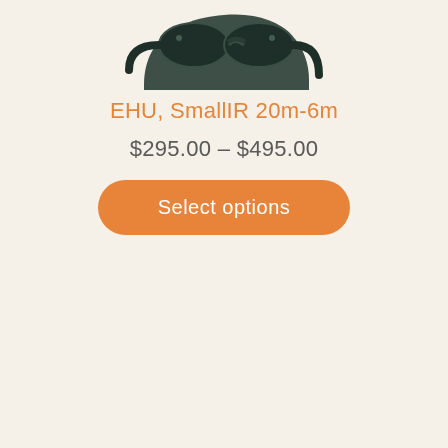[Figure (illustration): Dark teal/black colored curved product (possibly goggles or an equipment component) shown partially at the top of the card]
EHU, SmallIR 20m-6m
$295.00 – $495.00
Select options